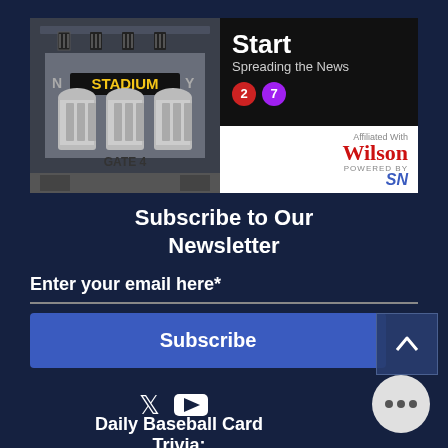[Figure (illustration): Podcast thumbnail showing a stadium gate illustration with 'STADIUM' text in yellow and 'GATE 4' label, paired with a dark panel showing 'Start Spreading the News' podcast title with subway line 2 and 7 circles, Wilson branding and SN logo]
Subscribe to Our Newsletter
Enter your email here*
Subscribe
[Figure (illustration): Twitter and YouTube social media icons]
Daily Baseball Card Trivia: